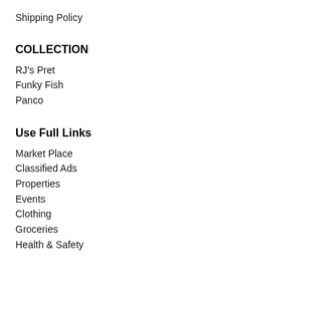Shipping Policy
COLLECTION
RJ's Pret
Funky Fish
Panco
Use Full Links
Market Place
Classified Ads
Properties
Events
Clothing
Groceries
Health & Safety